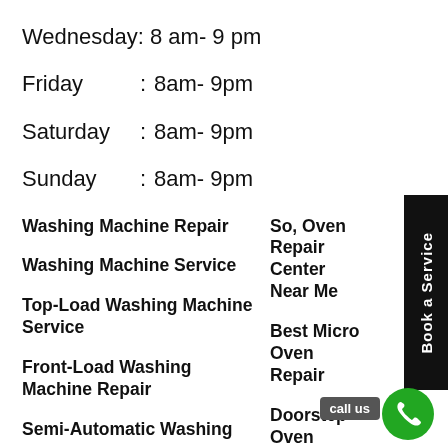Wednesday: 8 am- 9 pm
Friday       :  8am- 9pm
Saturday   :  8am- 9pm
Sunday     :  8am- 9pm
Washing Machine Repair
So, Oven Repair Center Near Me
Washing Machine Service
Best Micro Oven Repair
Top-Load Washing Machine Service
Doorstep Oven Repair Center
Front-Load Washing Machine Repair
Micro Oven Repair Service
Semi-Automatic Washing
Top Oven Repair Near